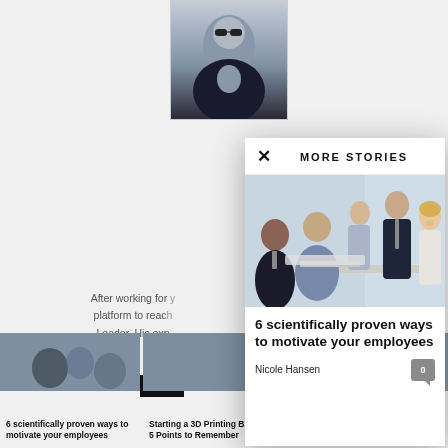[Figure (photo): Person with sunglasses, upper body, background photo behind modal]
After working for years… platform to reach… Leader. His exp…
[Figure (photo): Business meeting photo — group of professionals around a table]
6 scientifically proven ways to motivate your employees
Nicole Hansen
[Figure (photo): Bottom card: 6 scientifically proven ways to motivate your employees]
6 scientifically proven ways to motivate your employees
[Figure (photo): Bottom card: Starting a 3D Printing Business]
Starting a 3D Printing Business: 5 Points to Remember
[Figure (photo): Bottom card: A Profile of Evangelos Marinakis]
A Profile of Evangelos Marinakis